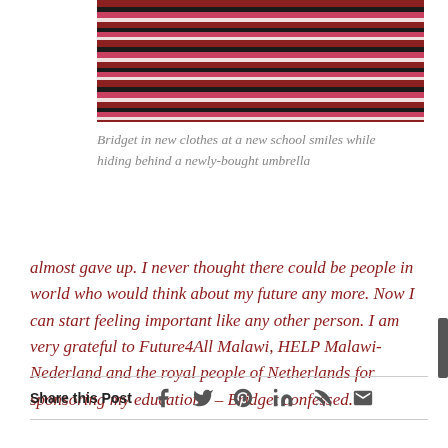[Figure (photo): Partial photo of a person in a striped dress standing on red/brown earth, cropped at top]
Bridget in new clothes at a new school smiles while hiding behind a newly-bought umbrella
almost gave up. I never thought there could be people in world who would think about my future any more. Now I can start feeling important like any other person. I am very grateful to Future4All Malawi, HELP Malawi-Nederland and the royal people of Netherlands for sponsoring my education” – Bridget confessed.
Share this Post